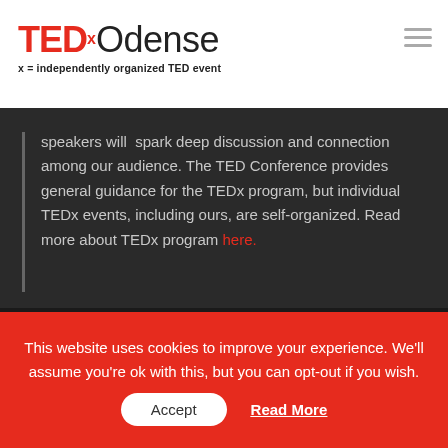TEDx Odense — x = independently organized TED event
speakers will spark deep discussion and connection among our audience. The TED Conference provides general guidance for the TEDx program, but individual TEDx events, including ours, are self-organized. Read more about TEDx program here.
[Figure (infographic): Social media icons: Facebook, LinkedIn, Instagram, YouTube, Twitter]
#tedxodense
This website uses cookies to improve your experience. We'll assume you're ok with this, but you can opt-out if you wish.
Accept  Read More